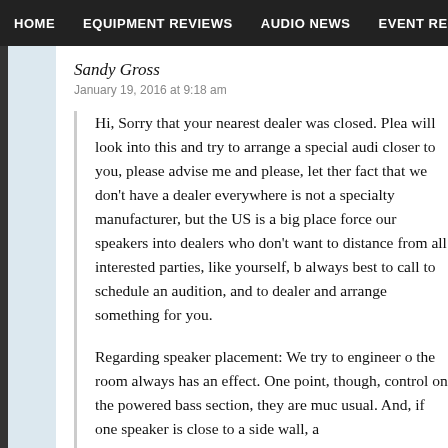HOME   EQUIPMENT REVIEWS   AUDIO NEWS   EVENT REPORTS   S
Sandy Gross
January 19, 2016 at 9:18 am
Hi, Sorry that your nearest dealer was closed. Please will look into this and try to arrange a special audi closer to you, please advise me and please, let ther fact that we don't have a dealer everywhere is not a specialty manufacturer, but the US is a big place force our speakers into dealers who don't want to distance from all interested parties, like yourself, b always best to call to schedule an audition, and to dealer and arrange something for you.

Regarding speaker placement: We try to engineer the room always has an effect. One point, though, control on the powered bass section, they are muc usual. And, if one speaker is close to a side wall, a

All the Best,